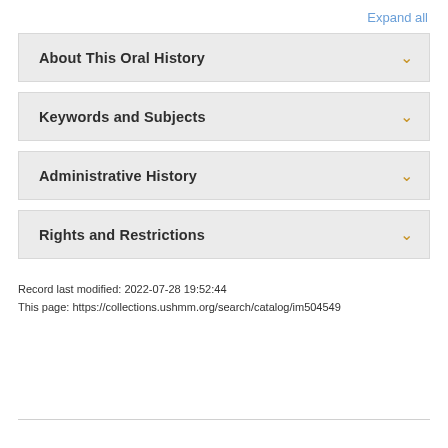Expand all
About This Oral History
Keywords and Subjects
Administrative History
Rights and Restrictions
Record last modified: 2022-07-28 19:52:44
This page: https://collections.ushmm.org/search/catalog/im504549